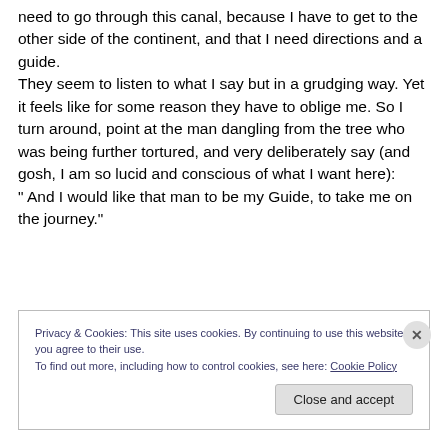need to go through this canal, because I have to get to the other side of the continent, and that I need directions and a guide.
They seem to listen to what I say but in a grudging way. Yet it feels like for some reason they have to oblige me. So I turn around, point at the man dangling from the tree who was being further tortured, and very deliberately say (and gosh, I am so lucid and conscious of what I want here):
" And I would like that man to be my Guide, to take me on the journey."
Privacy & Cookies: This site uses cookies. By continuing to use this website, you agree to their use.
To find out more, including how to control cookies, see here: Cookie Policy
Close and accept